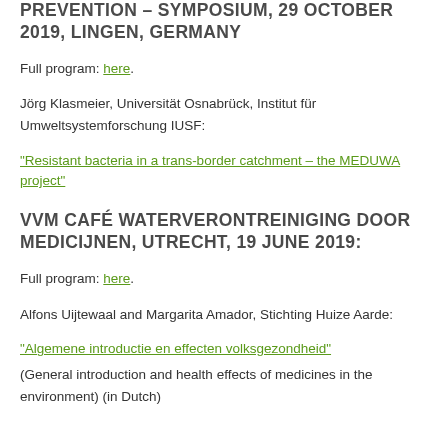PREVENTION – SYMPOSIUM, 29 OCTOBER 2019, LINGEN, GERMANY
Full program: here.
Jörg Klasmeier, Universität Osnabrück, Institut für Umweltsystemforschung IUSF:
"Resistant bacteria in a trans-border catchment – the MEDUWA project"
VVM CAFÉ WATERVERONTREINIGING DOOR MEDICIJNEN, UTRECHT, 19 JUNE 2019:
Full program: here.
Alfons Uijtewaal and Margarita Amador, Stichting Huize Aarde:
"Algemene introductie en effecten volksgezondheid"
(General introduction and health effects of medicines in the environment) (in Dutch)